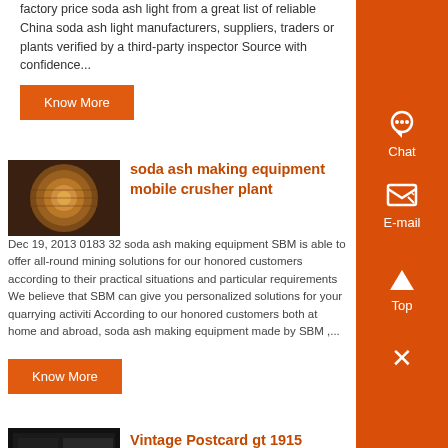factory price soda ash light from a great list of reliable China soda ash light manufacturers, suppliers, traders or plants verified by a third-party inspector Source with confidence...
Know More
soda ash making equipment mobile crusher plant
Dec 19, 2013 0183 32 soda ash making equipment SBM is able to offer all-round mining solutions for our honored customers according to their practical situations and particular requirements We believe that SBM can give you personalized solutions for your quarrying activiti According to our honored customers both at home and abroad, soda ash making equipment made by SBM ,...
Know More
Vintage Postcard gt 1915
[Figure (photo): Close-up photo of industrial cylindrical equipment, orange-brown in color]
[Figure (photo): Dark photo of vintage postcard or industrial scene, monochrome]